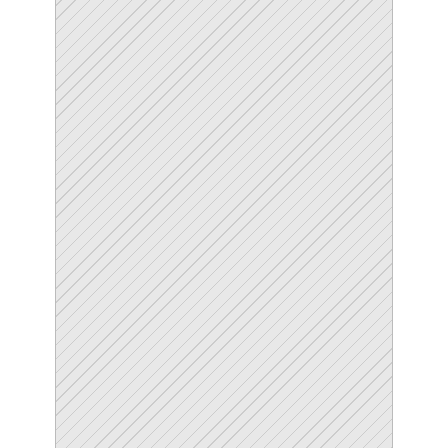[Figure (illustration): Hatched/diagonal pattern area occupying the left portion of the page, likely representing an image placeholder or cropped image]
Finance ministry on NITA monies
Parliament's committee on ICT has directed the finance ministry to pay National Information Technology Authority (NITA-U) a total of money that its agencies have failed to pay for the years as internet fees. Committee chairperson Paul Turyahikayo made the directive following a revelation from a NITA-U that appeared before the committee that they are failing to deliver some of the services due to lack of operational funds. "Ministry of Finance must ensure that from MDAs that h